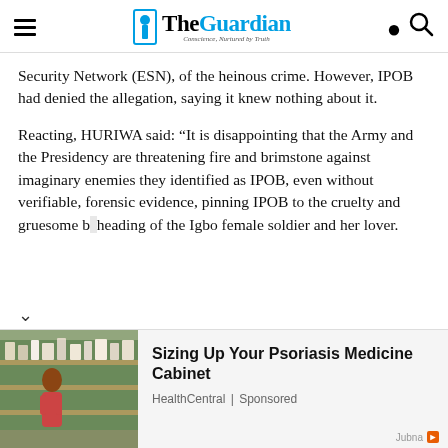The Guardian — Conscience, Nurtured by Truth
Security Network (ESN), of the heinous crime. However, IPOB had denied the allegation, saying it knew nothing about it.
Reacting, HURIWA said: “It is disappointing that the Army and the Presidency are threatening fire and brimstone against imaginary enemies they identified as IPOB, even without verifiable, forensic evidence, pinning IPOB to the cruelty and gruesome beheading of the Igbo female soldier and her lover.
[Figure (photo): Woman browsing products in a store aisle (advertisement image for HealthCentral Psoriasis article)]
Sizing Up Your Psoriasis Medicine Cabinet
HealthCentral | Sponsored